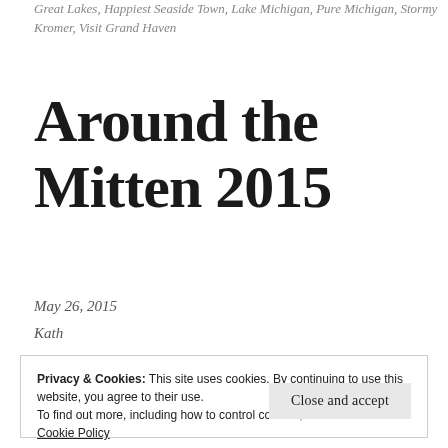Great Lakes, Happiest Seaside Town, Lake Michigan, Pure Michigan, Stormy Kromer, Visit Grand Haven
Around the Mitten 2015
May 26, 2015
Kath
Privacy & Cookies: This site uses cookies. By continuing to use this website, you agree to their use.
To find out more, including how to control cookies, see here: Cookie Policy
Close and accept